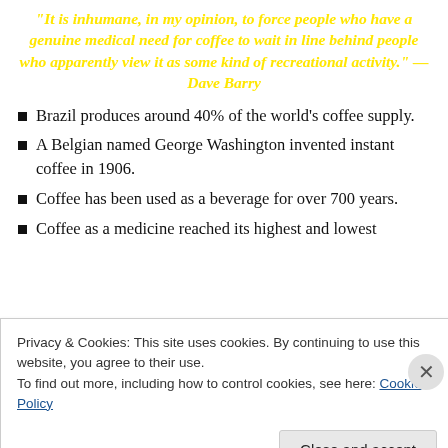"It is inhumane, in my opinion, to force people who have a genuine medical need for coffee to wait in line behind people who apparently view it as some kind of recreational activity." — Dave Barry
Brazil produces around 40% of the world's coffee supply.
A Belgian named George Washington invented instant coffee in 1906.
Coffee has been used as a beverage for over 700 years.
Coffee as a medicine reached its highest and lowest...
Privacy & Cookies: This site uses cookies. By continuing to use this website, you agree to their use.
To find out more, including how to control cookies, see here: Cookie Policy